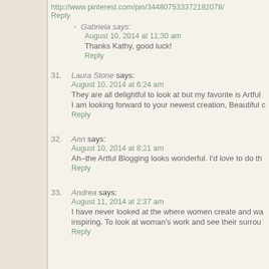http://www.pinterest.com/pin/344807533372182078/
Reply
Gabriela says:
August 10, 2014 at 11:30 am
Thanks Kathy, good luck!
Reply
31. Laura Stone says:
August 10, 2014 at 6:24 am
They are all delightful to look at but my favorite is Artful
I am looking forward to your newest creation, Beautiful c
Reply
32. Ann says:
August 10, 2014 at 8:21 am
Ah–the Artful Blogging looks wonderful. I'd love to do th
Reply
33. Andrea says:
August 11, 2014 at 2:37 am
I have never looked at the where women create and wa
inspiring. To look at woman's work and see their surrou
Reply